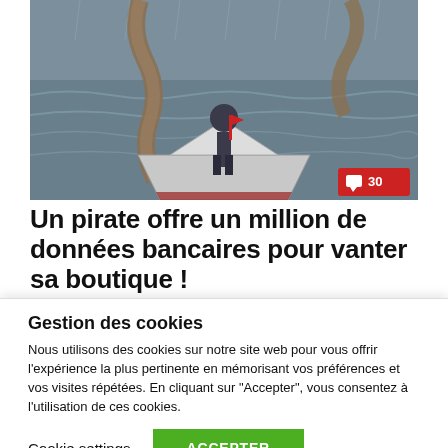[Figure (photo): A dark stormy sea scene with a person standing on a boat bow, tentacles visible in the background. Bottom-right corner has a red comment badge showing 30.]
Un pirate offre un million de données bancaires pour vanter sa boutique !
Gestion des cookies
Nous utilisons des cookies sur notre site web pour vous offrir l'expérience la plus pertinente en mémorisant vos préférences et vos visites répétées. En cliquant sur "Accepter", vous consentez à l'utilisation de ces cookies.
Cookie settings | ACCEPTER